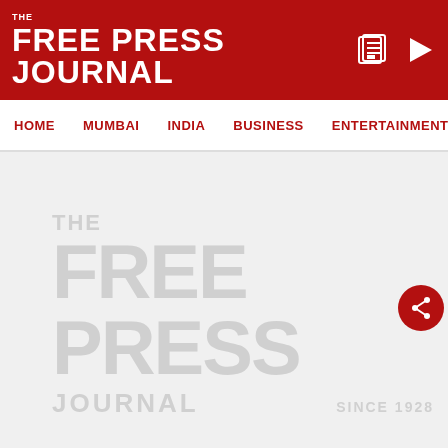THE FREE PRESS JOURNAL
HOME  MUMBAI  INDIA  BUSINESS  ENTERTAINMENT  PHO
[Figure (logo): The Free Press Journal watermark logo in light grey with text THE FREE PRESS JOURNAL SINCE 1928]
[Figure (illustration): Red circular share button with share icon]